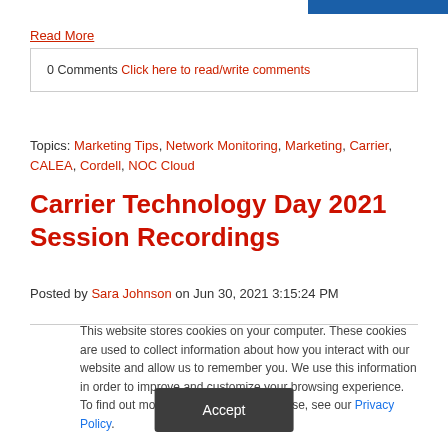[Figure (other): Blue decorative bar in top right corner]
Read More
0 Comments Click here to read/write comments
Topics: Marketing Tips, Network Monitoring, Marketing, Carrier, CALEA, Cordell, NOC Cloud
Carrier Technology Day 2021 Session Recordings
Posted by Sara Johnson on Jun 30, 2021 3:15:24 PM
This website stores cookies on your computer. These cookies are used to collect information about how you interact with our website and allow us to remember you. We use this information in order to improve and customize your browsing experience. To find out more about the cookies we use, see our Privacy Policy.
Accept